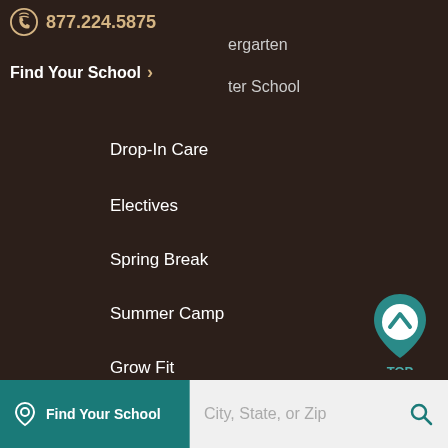877.224.5875
Find Your School >
ergarten
ter School
Drop-In Care
Electives
Spring Break
Summer Camp
Grow Fit
Our Schools
Find Your School
Tour a School
Health and Safety
Family Communication App
Tuition
Enrollment
TOP
Find Your School   City, State, or Zip